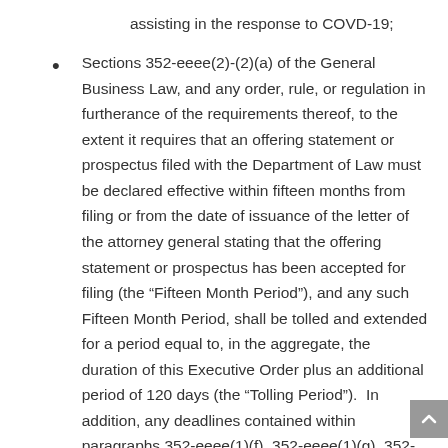assisting in the response to COVD-19;
Sections 352-eeee(2)-(2)(a) of the General Business Law, and any order, rule, or regulation in furtherance of the requirements thereof, to the extent it requires that an offering statement or prospectus filed with the Department of Law must be declared effective within fifteen months from filing or from the date of issuance of the letter of the attorney general stating that the offering statement or prospectus has been accepted for filing (the “Fifteen Month Period”), and any such Fifteen Month Period, shall be tolled and extended for a period equal to, in the aggregate, the duration of this Executive Order plus an additional period of 120 days (the “Tolling Period”). In addition, any deadlines contained within paragraphs 352-eeee(1)(f), 352-eeee(1)(g), 352-